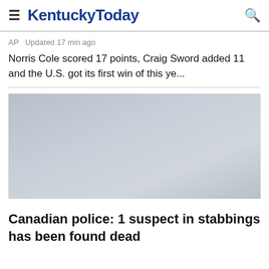KentuckyToday
AP  Updated 17 min ago
Norris Cole scored 17 points, Craig Sword added 11 and the U.S. got its first win of this ye...
[Figure (photo): Gray placeholder image for a news article photo]
Canadian police: 1 suspect in stabbings has been found dead